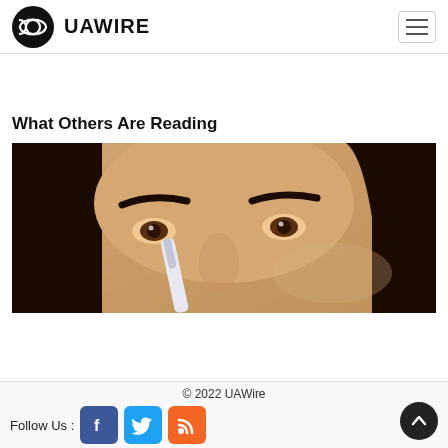UAWIRE
What Others Are Reading
[Figure (photo): Close-up photo of a woman with dark hair applying makeup or a cosmetic product near her eye using a white applicator tool]
© 2022 UAWire — Follow Us — Facebook, Twitter, RSS social links